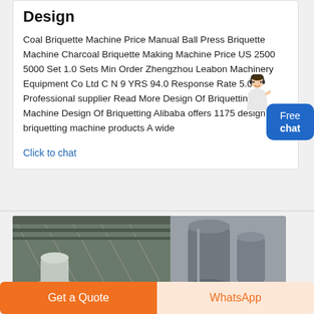Design
Coal Briquette Machine Price Manual Ball Press Briquette Machine Charcoal Briquette Making Machine Price US 2500 5000 Set 1.0 Sets Min Order Zhengzhou Leabon Machinery Equipment Co Ltd CN 9 YRS 94.0 Response Rate 5.0 3 Professional supplier Read More Design Of Briquetting Machine Design Of Briquetting Alibaba offers 1175 design of briquetting machine products A wide
Click to chat
[Figure (photo): Industrial briquetting machine equipment in a factory setting, showing large cylindrical machine components]
[Figure (illustration): Customer service avatar person with free chat bubble overlay]
Get a Quote
WhatsApp